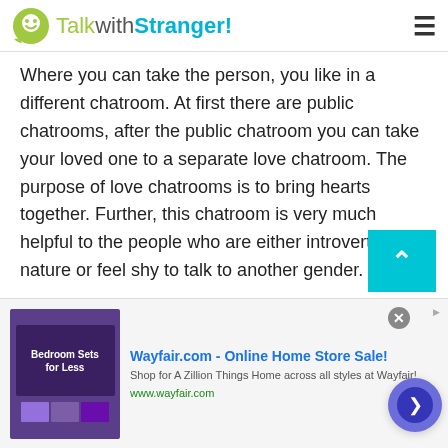TalkwithStranger!
Where you can take the person, you like in a different chatroom. At first there are public chatrooms, after the public chatroom you can take your loved one to a separate love chatroom. The purpose of love chatrooms is to bring hearts together. Further, this chatroom is very much helpful to the people who are either introverted by nature or feel shy to talk to another gender.
Make New Friends:
The world has now become a global village.
[Figure (other): Advertisement banner for Wayfair.com - Online Home Store Sale! showing bedroom furniture image and text: Shop for A Zillion Things Home across all styles at Wayfair! www.wayfair.com]